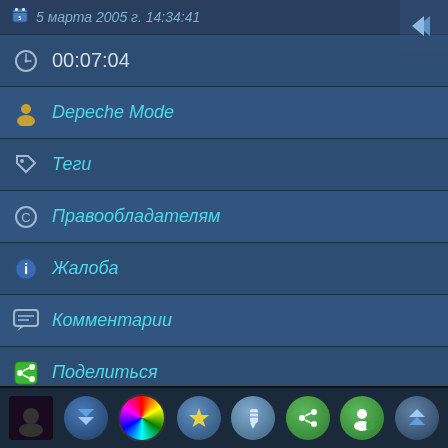5 марта 2005 г. 14:34:41
00:07:04
Depeche Mode
Теги
Правообладателям
Жалоба
Комментарии
Поделиться
Похожие видео
[Figure (screenshot): Thumbnail of Depeche Mode live concert video with vevo watermark]
Depeche Mode - Enjoy The Silence (Live on Letterman)